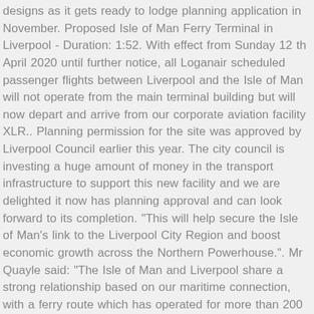designs as it gets ready to lodge planning application in November. Proposed Isle of Man Ferry Terminal in Liverpool - Duration: 1:52. With effect from Sunday 12 th April 2020 until further notice, all Loganair scheduled passenger flights between Liverpool and the Isle of Man will not operate from the main terminal building but will now depart and arrive from our corporate aviation facility XLR.. Planning permission for the site was approved by Liverpool Council earlier this year. The city council is investing a huge amount of money in the transport infrastructure to support this new facility and we are delighted it now has planning approval and can look forward to its completion. "This will help secure the Isle of Man's link to the Liverpool City Region and boost economic growth across the Northern Powerhouse.". Mr Quayle said: "The Isle of Man and Liverpool share a strong relationship based on our maritime connection, with a ferry route which has operated for more than 200 years. The port is well connected with the rest of the country features numerous terminals, two of which are used for passenger